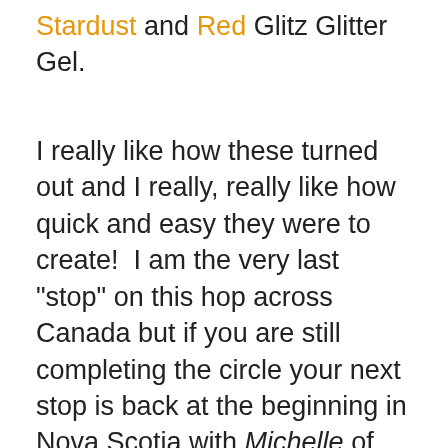Stardust and Red Glitz Glitter Gel.
I really like how these turned out and I really, really like how quick and easy they were to create!  I am the very last "stop" on this hop across Canada but if you are still completing the circle your next stop is back at the beginning in Nova Scotia with Michelle of  My Creations with Michelle.
Thanks for hopping along with us - we hope we were able to inspire you to get creative using some of the designs, products and techniques seen along the way. Join us again